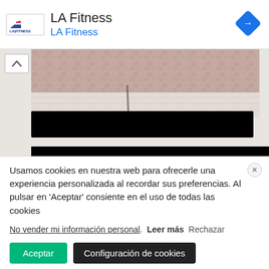[Figure (logo): LA Fitness advertisement bar with logo, title 'LA Fitness', subtitle 'LA Fitness' in blue, and a blue diamond navigation icon on the right]
[Figure (photo): Photo of knitted/crocheted fabric in mauve/dusty pink color on a light wooden surface, partially visible with a black redaction bar over text and another black bar at the bottom]
Usamos cookies en nuestra web para ofrecerle una experiencia personalizada al recordar sus preferencias. Al pulsar en 'Aceptar' consiente en el uso de todas las cookies
No vender mi información personal. Leer más Rechazar
Aceptar   Configuración de cookies